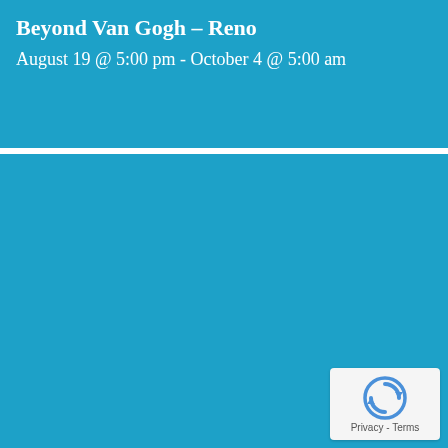Beyond Van Gogh – Reno
August 19 @ 5:00 pm - October 4 @ 5:00 am
[Figure (illustration): Blue card image placeholder for The Great Reno Balloon Race]
The Great Reno Balloon Race
September 9 - September 12
[Figure (illustration): Blue card image placeholder for third event]
[Figure (logo): Google reCAPTCHA privacy badge with recaptcha icon and Privacy - Terms text]